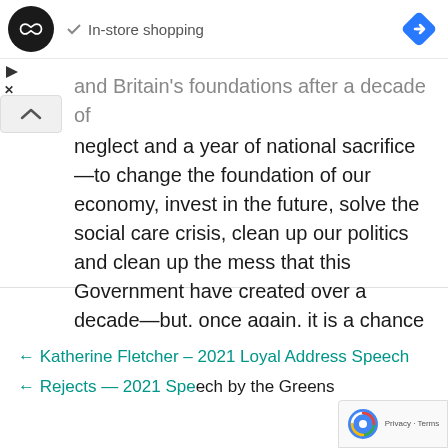[Figure (logo): Black circular logo with double arrow/infinity symbol, checkmark icon with 'In-store shopping' text, and blue diamond navigation arrow icon on right]
and Britain's foundations after a decade of neglect and a year of national sacrifice—to change the foundation of our economy, invest in the future, solve the social care crisis, clean up our politics and clean up the mess that this Government have created over a decade—but, once again, it is a chance that has been squandered.
← Katherine Fletcher – 2021 Loyal Address Speech
← Rejects — 2021 Speech by the Greens